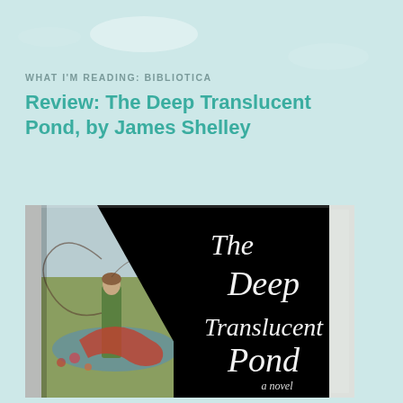WHAT I'M READING: BIBLIOTICA
Review: The Deep Translucent Pond, by James Shelley
[Figure (photo): Book cover of 'The Deep Translucent Pond, a novel' by James Shelley. The cover is split diagonally: the left portion shows a classical painting of a woman in green robes with fantastical creatures, while the right portion has a black background with the book title written in elegant white cursive script.]